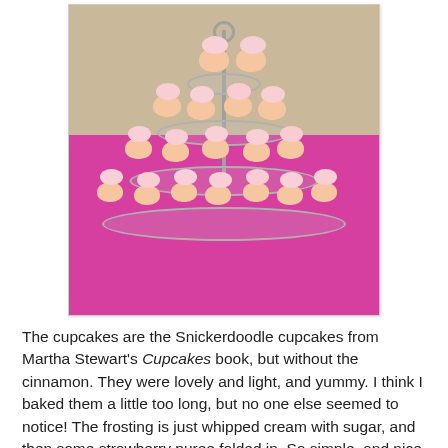[Figure (photo): A tiered cupcake stand on a magenta/pink tablecloth, holding multiple cupcakes with pink/white frosting, photographed indoors against a beige wall.]
The cupcakes are the Snickerdoodle cupcakes from Martha Stewart's Cupcakes book, but without the cinnamon. They were lovely and light, and yummy. I think I baked them a little too long, but no one else seemed to notice! The frosting is just whipped cream with sugar, and then some strawberry puree folded in. So simple, and nice and fresh for a summer